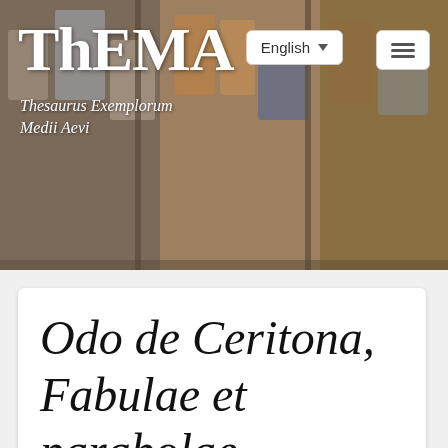[Figure (screenshot): ThEMA website header with medieval manuscript illustrations as background. Shows the ThEMA logo text, subtitle 'Thesaurus Exemplorum Medii Aevi', an English language selector dropdown, and a hamburger menu button.]
Odo de Ceritona, Fabulae et parabolae [Hervieux, 1896, t. IV]: P195
Status: